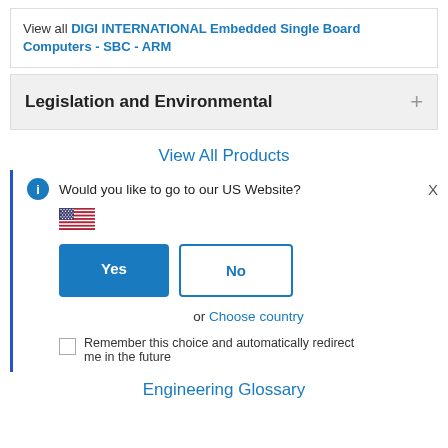View all DIGI INTERNATIONAL Embedded Single Board Computers - SBC - ARM
Legislation and Environmental
View All Products
Would you like to go to our US Website?
[Figure (illustration): US flag emoji]
Yes
No
or Choose country
Remember this choice and automatically redirect me in the future
Engineering Glossary